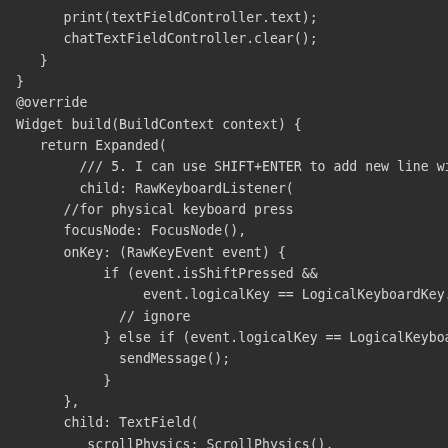[Figure (screenshot): Dark-themed code editor screenshot showing Dart/Flutter code with RawKeyboardListener widget implementation including keyboard event handling and TextField configuration.]